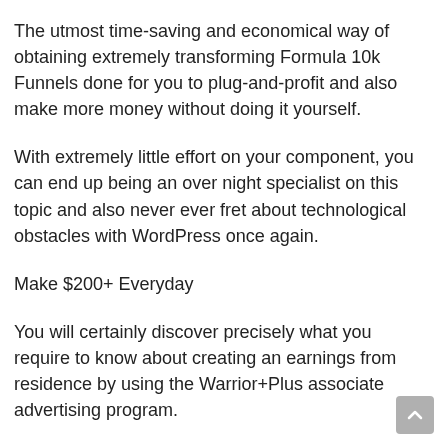The utmost time-saving and economical way of obtaining extremely transforming Formula 10k Funnels done for you to plug-and-profit and also make more money without doing it yourself.
With extremely little effort on your component, you can end up being an over night specialist on this topic and also never ever fret about technological obstacles with WordPress once again.
Make $200+ Everyday
You will certainly discover precisely what you require to know about creating an earnings from residence by using the Warrior+Plus associate advertising program.